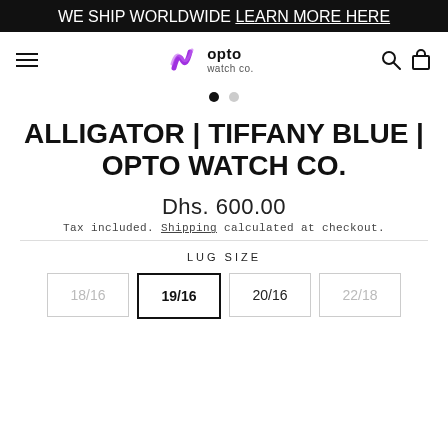WE SHIP WORLDWIDE
LEARN MORE HERE
[Figure (logo): Opto Watch Co. logo with purple swirl icon and text 'opto watch co.']
• •
ALLIGATOR | TIFFANY BLUE | OPTO WATCH CO.
Dhs. 600.00
Tax included. Shipping calculated at checkout.
LUG SIZE
18/16  19/16  20/16  22/18